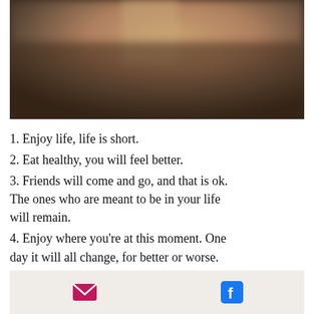[Figure (photo): Blurred warm-toned photograph showing dark and golden-brown tones, possibly an indoor or outdoor scene with blurred background]
1. Enjoy life, life is short.
2. Eat healthy, you will feel better.
3. Friends will come and go, and that is ok. The ones who are meant to be in your life will remain.
4. Enjoy where you're at this moment. One day it will all change, for better or worse. But learn to appreciate each moment and be in the present.
Email icon and Facebook icon